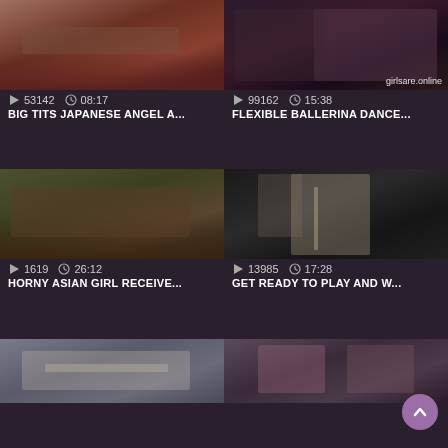[Figure (screenshot): Video thumbnail 1 - person lying down]
▷ 53142   🕐 08:17
BIG TITS JAPANESE ANGEL A...
[Figure (screenshot): Video thumbnail 2 - couple, watermark girlsare.online]
▷ 99162   🕐 15:38
FLEXIBLE BALLERINA DANCE...
[Figure (screenshot): Video thumbnail 3 - couple scene]
▷ 1619   🕐 26:12
HORNY ASIAN GIRL RECEIVE...
[Figure (screenshot): Video thumbnail 4 - rope suspension scene]
▷ 13985   🕐 17:28
GET READY TO PLAY AND W...
[Figure (screenshot): Video thumbnail 5 - partial, rope/bondage equipment]
[Figure (screenshot): Video thumbnail 6 - partial, person with cuffs]